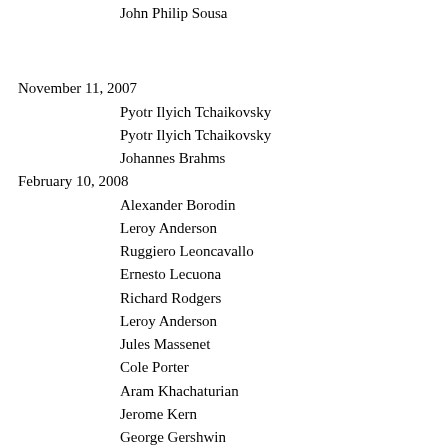John Philip Sousa
November 11, 2007
Pyotr Ilyich Tchaikovsky
Pyotr Ilyich Tchaikovsky
Johannes Brahms
February 10, 2008
Alexander Borodin
Leroy Anderson
Ruggiero Leoncavallo
Ernesto Lecuona
Richard Rodgers
Leroy Anderson
Jules Massenet
Cole Porter
Aram Khachaturian
Jerome Kern
George Gershwin
Agustín Lara